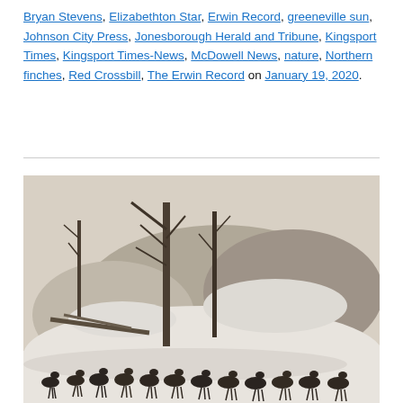Bryan Stevens, Elizabethton Star, Erwin Record, greeneville sun, Johnson City Press, Jonesborough Herald and Tribune, Kingsport Times, Kingsport Times-News, McDowell News, nature, Northern finches, Red Crossbill, The Erwin Record on January 19, 2020.
[Figure (photo): Black and white photograph of a flock of wild turkeys walking across a snow-covered ground in front of a wooded hillside with bare trees and snow-dusted rocks.]